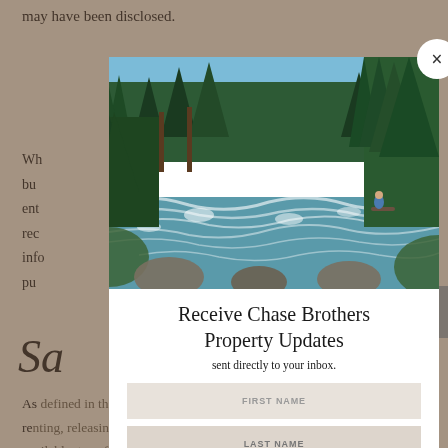may have been disclosed.
Wh... a business... We entered... and rec... nal info... any pur...
Sa...
As defined in the CCPA, "sell" and "sale" mean selling, renting, releasing, disclosing, disseminating, making available, transferring, or otherwise communicating orally, in writing, or by electronic or other means, a consumer's personal information by the business to a third party... means the...
[Figure (photo): Nature photo of a rocky mountain stream with rushing white water, surrounded by tall pine trees and green forest vegetation, with a person standing on a log in the background on the right side.]
Receive Chase Brothers Property Updates
sent directly to your inbox.
FIRST NAME
LAST NAME